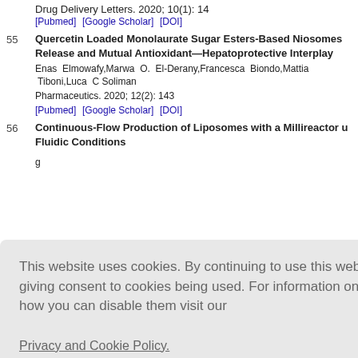[Pubmed]  [Google Scholar] [DOI]
55  Quercetin Loaded Monolaurate Sugar Esters-Based Niosomes Release and Mutual Antioxidant—Hepatoprotective Interplay
Enas Elmowafy,Marwa O. El-Derany,Francesca Biondo,Mattia Tiboni,Luca C Soliman
Pharmaceutics. 2020; 12(2): 143
[Pubmed]  [Google Scholar] [DOI]
56  Continuous-Flow Production of Liposomes with a Millireactor u Fluidic Conditions
This website uses cookies. By continuing to use this website you are giving consent to cookies being used. For information on cookies and how you can disable them visit our
Privacy and Cookie Policy.
AGREE & PROCEED
58  Ascorbic acid derivative-loaded modified aspasomes: formulatio